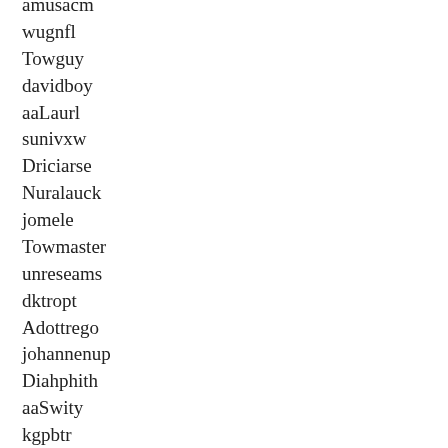amusacm
wugnfl
Towguy
davidboy
aaLaurl
sunivxw
Driciarse
Nuralauck
jomele
Towmaster
unreseams
dktropt
Adottrego
johannenup
Diahphith
aaSwity
kgpbtr
tarahprelm
speedcity
ammieknony
Kiceroaro
xfrwany
cdkjuz
aatauntee
emutsgame